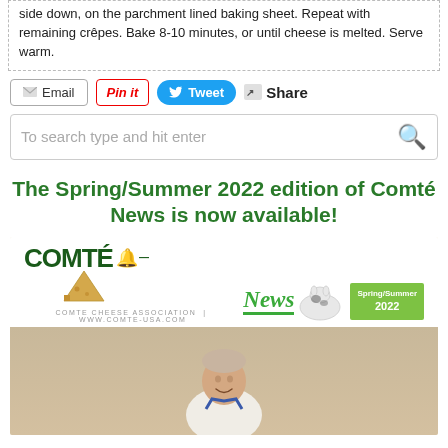side down, on the parchment lined baking sheet. Repeat with remaining crêpes. Bake 8-10 minutes, or until cheese is melted. Serve warm.
Email | Pin it | Tweet | Share
To search type and hit enter
The Spring/Summer 2022 edition of Comté News is now available!
[Figure (other): Comté News Spring/Summer 2022 newsletter cover image showing the Comté News logo with a cow graphic and a wedge of Comté cheese, with a person (chef) photo below on a tan background.]